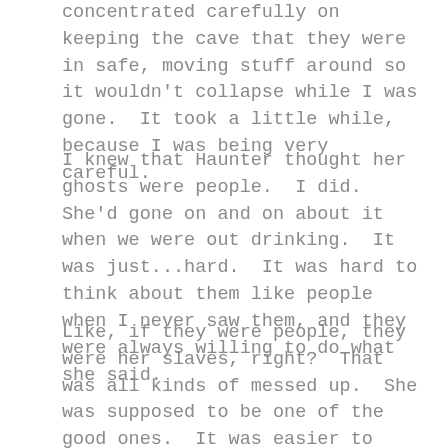concentrated carefully on keeping the cave that they were in safe, moving stuff around so it wouldn't collapse while I was gone.  It took a little while, because I was being very careful.
I knew that Haunter thought her ghosts were people.  I did.  She'd gone on and on about it when we were out drinking.  It was just...hard.  It was hard to think about them like people when I never saw them, and they were always willing to do what she said.
Like, if they were people, they were her slaves, right?  That was all kinds of messed up.  She was supposed to be one of the good ones.  It was easier to pretend in my mind that she made them up whenever she needed a helper, like Fisher's monster.